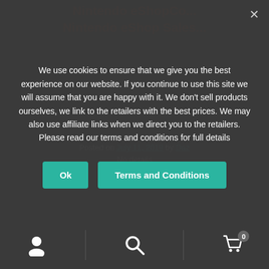Nintendo eShop Co... / Nintendo eShop Sales...
Posted on July 11, 2019 by Daz
We use cookies to ensure that we give you the best experience on our website. If you continue to use this site we will assume that you are happy with it. We don't sell products ourselves, we link to the retailers with the best prices. We may also use affiliate links when we direct you to the retailers. Please read our terms and conditions for full details
Categories: Features, Latest, News
Tags: eShop, Go Digital, Nintendo, Nintendo Switch, Sale
[Figure (logo): Nintendo logo — white Nintendo wordmark with registered trademark symbol on red rounded rectangle background]
Navigation bar with user icon, search icon, and cart icon (0 items)